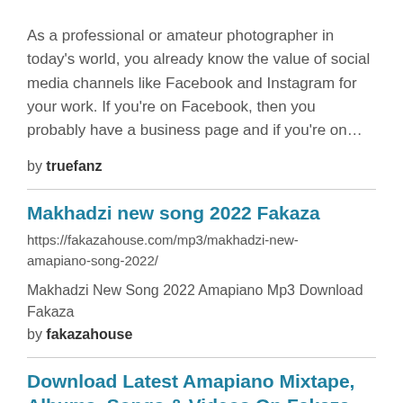As a professional or amateur photographer in today's world, you already know the value of social media channels like Facebook and Instagram for your work. If you're on Facebook, then you probably have a business page and if you're on…
by truefanz
Makhadzi new song 2022 Fakaza
https://fakazahouse.com/mp3/makhadzi-new-amapiano-song-2022/
Makhadzi New Song 2022 Amapiano Mp3 Download Fakaza
by fakazahouse
Download Latest Amapiano Mixtape, Albums, Songs & Videos On Fakaza
https://fakazahouse.com/mp3/amapiano-mixtape-